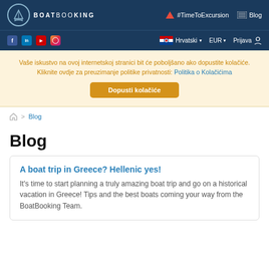BoatBooking | #TimeToExcursion | Blog
f in YouTube Instagram | Hrvatski | EUR | Prijava
Vaše iskustvo na ovoj internetskoj stranici bit će poboljšano ako dopustite kolačiće. Kliknite ovdje za preuzimanje politike privatnosti: Politika o Kolačićima
Dopusti kolačiće
🏠 > Blog
Blog
A boat trip in Greece? Hellenic yes!
It's time to start planning a truly amazing boat trip and go on a historical vacation in Greece! Tips and the best boats coming your way from the BoatBooking Team.